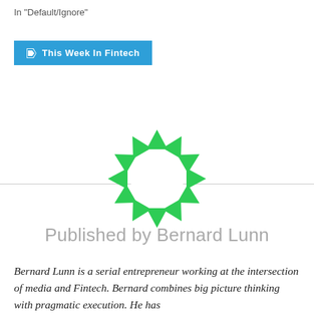In "Default/Ignore"
This Week In Fintech
[Figure (logo): Circular logo made of green triangular segments arranged in a ring, resembling a recycling/fintech brand mark.]
Published by Bernard Lunn
Bernard Lunn is a serial entrepreneur working at the intersection of media and Fintech. Bernard combines big picture thinking with pragmatic execution. He has